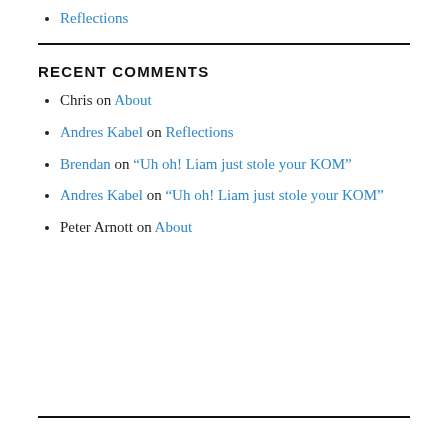Reflections
RECENT COMMENTS
Chris on About
Andres Kabel on Reflections
Brendan on “Uh oh! Liam just stole your KOM”
Andres Kabel on “Uh oh! Liam just stole your KOM”
Peter Arnott on About